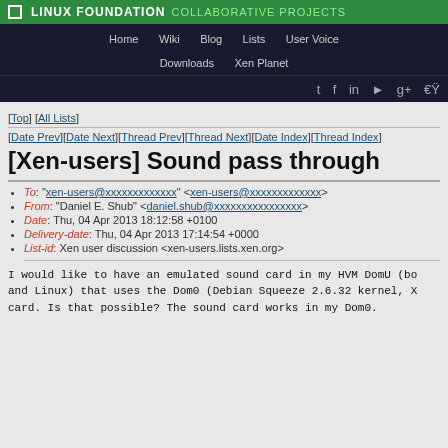LINUX FOUNDATION COLLABORATIVE PROJECTS — Home Wiki Blog Lists User Voice Downloads Xen Planet
[Top] [All Lists]
[Date Prev][Date Next][Thread Prev][Thread Next][Date Index][Thread Index]
[Xen-users] Sound pass through
To: "xen-users@xxxxxxxxxxxxx" <xen-users@xxxxxxxxxxxxx>
From: "Daniel E. Shub" <daniel.shub@xxxxxxxxxxxxxxxx>
Date: Thu, 04 Apr 2013 18:12:58 +0100
Delivery-date: Thu, 04 Apr 2013 17:14:54 +0000
List-id: Xen user discussion <xen-users.lists.xen.org>
I would like to have an emulated sound card in my HVM DomU (bo
and Linux) that uses the Dom0 (Debian Squeeze 2.6.32 kernel, X
card. Is that possible? The sound card works in my Dom0.